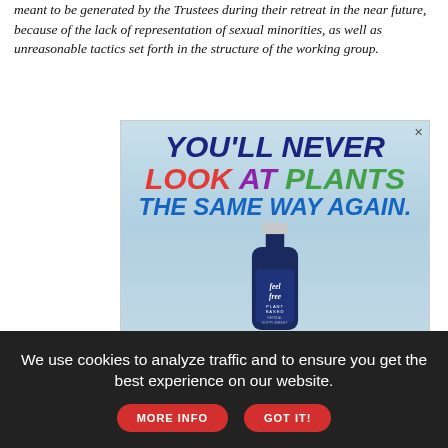meant to be generated by the Trustees during their retreat in the near future, because of the lack of representation of sexual minorities, as well as unreasonable tactics set forth in the structure of the working group.
[Figure (illustration): Advertisement for 'feel free' plant-based herbal supplement. Bold colorful text reads 'YOU'LL NEVER LOOK AT PLANTS THE SAME WAY AGAIN.' with a dark blue bottle of the supplement in front of a cloudy sky background.]
We use cookies to analyze traffic and to ensure you get the best experience on our website.